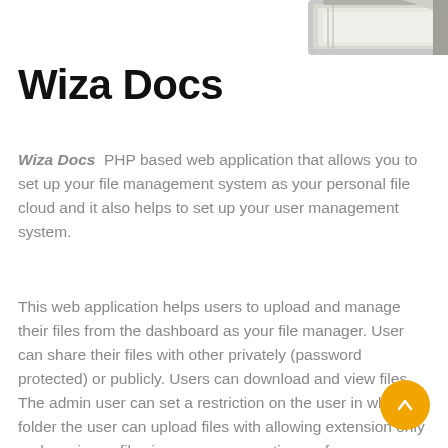[Figure (photo): Partial image of stacked documents or books visible at the top right corner of the page]
Wiza Docs
Wiza Docs  PHP based web application that allows you to set up your file management system as your personal file cloud and it also helps to set up your user management system.
This web application helps users to upload and manage their files from the dashboard as your file manager. User can share their files with other privately (password protected) or publicly. Users can download and view files. The admin user can set a restriction on the user in which folder the user can upload files with allowing extension only and maximum file size. every user action perform on application goes into database logs and the admin user views these logs entry of users.